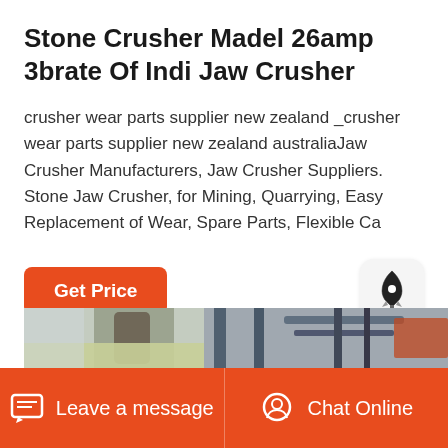Stone Crusher Madel 26amp 3brate Of Indi Jaw Crusher
crusher wear parts supplier new zealand _crusher wear parts supplier new zealand australiaJaw Crusher Manufacturers, Jaw Crusher Suppliers. Stone Jaw Crusher, for Mining, Quarrying, Easy Replacement of Wear, Spare Parts, Flexible Ca
[Figure (photo): Photograph of a stone jaw crusher machine, showing heavy industrial metal frame and mechanical components in a factory or industrial setting.]
Leave a message   Chat Online